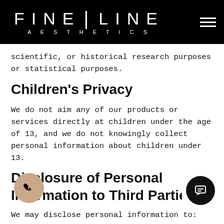FINE | LINE AESTHETICS
scientific, or historical research purposes or statistical purposes.
Children's Privacy
We do not aim any of our products or services directly at children under the age of 13, and we do not knowingly collect personal information about children under 13.
Disclosure of Personal Information to Third Parties
We may disclose personal information to:
a parent, subsidiary, or affiliate of our